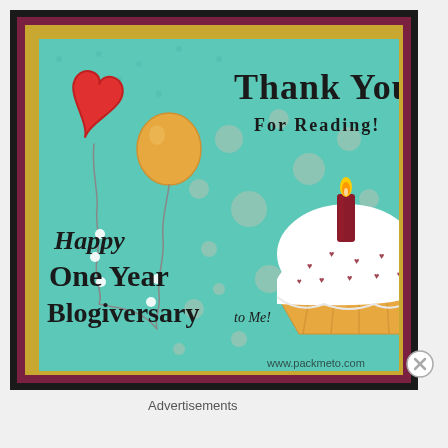[Figure (illustration): A decorative blogiversary card with teal background, two balloons (red heart-shaped and orange round), confetti dots, a cupcake with white frosting and a candle, and text reading 'Thank You For Reading! Happy One Year Blogiversary To Me! www.packmeto.com'. The card is framed by dark, maroon, and gold borders.]
Advertisements